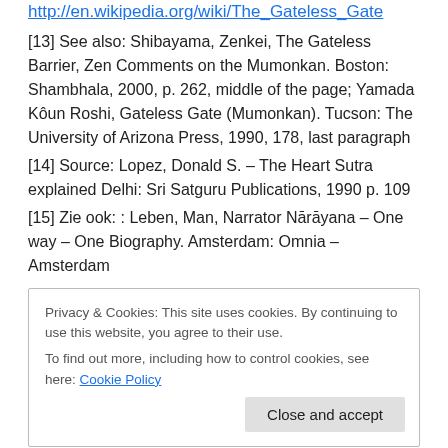http://en.wikipedia.org/wiki/The_Gateless_Gate
[13] See also: Shibayama, Zenkei, The Gateless Barrier, Zen Comments on the Mumonkan. Boston: Shambhala, 2000, p. 262, middle of the page; Yamada Kôun Roshi, Gateless Gate (Mumonkan). Tucson: The University of Arizona Press, 1990, 178, last paragraph
[14] Source: Lopez, Donald S. – The Heart Sutra explained Delhi: Sri Satguru Publications, 1990 p. 109
[15] Zie ook: : Leben, Man, Narrator Nārāyana – One way – One Biography. Amsterdam: Omnia – Amsterdam
Privacy & Cookies: This site uses cookies. By continuing to use this website, you agree to their use. To find out more, including how to control cookies, see here: Cookie Policy
[18] The name of this commentor is Śrimahāiana. Source: